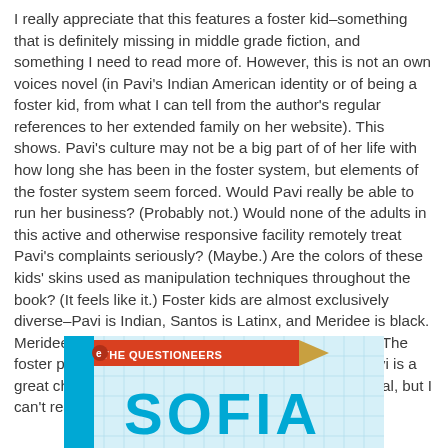I really appreciate that this features a foster kid–something that is definitely missing in middle grade fiction, and something I need to read more of. However, this is not an own voices novel (in Pavi's Indian American identity or of being a foster kid, from what I can tell from the author's regular references to her extended family on her website). This shows. Pavi's culture may not be a big part of of her life with how long she has been in the foster system, but elements of the foster system seem forced. Would Pavi really be able to run her business? (Probably not.) Would none of the adults in this active and otherwise responsive facility remotely treat Pavi's complaints seriously? (Maybe.) Are the colors of these kids' skins used as manipulation techniques throughout the book? (It feels like it.) Foster kids are almost exclusively diverse–Pavi is Indian, Santos is Latinx, and Meridee is black. Meridee feels more like a plot device than a character. The foster parents are white. I want to like this because Pavi is a great character and the book will have a lot of kid appeal, but I can't really recommend.
[Figure (illustration): Book cover image showing 'The Questioneers: Sofia' with a blue graph-paper background, a pencil graphic, and large bold teal letters spelling SOFIA]